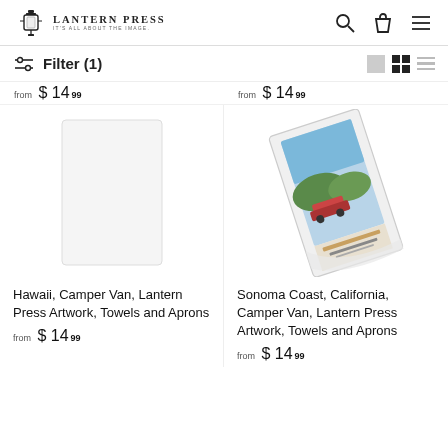Lantern Press – It's All About The Image. [Header with search, cart, menu icons]
Filter (1)
from $ 14.99
from $ 14.99
[Figure (photo): White kitchen towel laid flat (left product – Hawaii, Camper Van) – image area blank/white]
[Figure (photo): White kitchen towel shown at an angle with a vintage camper van travel poster print on it – Sonoma Coast, California product]
Hawaii, Camper Van, Lantern Press Artwork, Towels and Aprons
from $ 14.99
Sonoma Coast, California, Camper Van, Lantern Press Artwork, Towels and Aprons
from $ 14.99